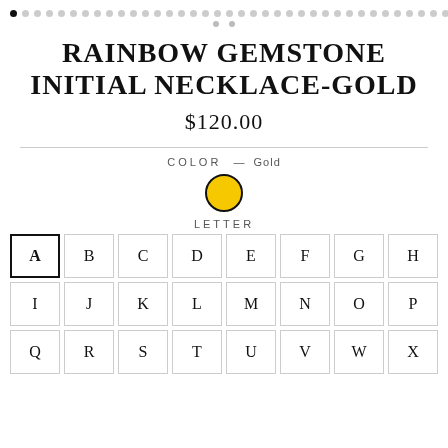[Figure (other): Image carousel dot navigation with one filled black dot and many grey dots]
RAINBOW GEMSTONE INITIAL NECKLACE-GOLD
$120.00
COLOR — Gold
[Figure (other): Gold color swatch circle with black border, selected state]
LETTER
A B C D E F G H I J K L M N O P Q R S T U V W X (letter selector grid, A selected)